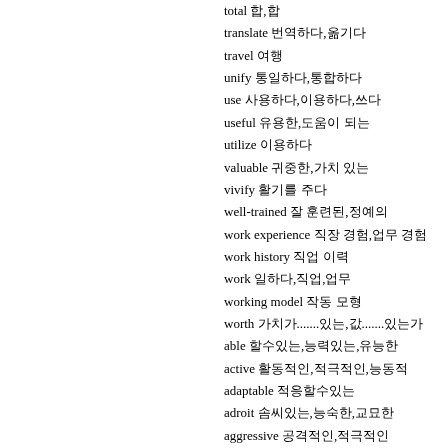total 합,합
translate 번역하다,옮기다
travel 여행
unify 통일하다,통합하다
use 사용하다,이용하다,쓰다
useful 유용한,도움이 되는
utilize 이용하다
valuable 귀중한,가치 있는
vivify 활기를 주다
well-trained 잘 훈련된,정예의
work experience 직장 경험,업무 경험
work history 직업 이력
work 일하다,직업,업무
working model 작동 모형
worth 가치가......있는,가치,값.......있는가
able 할수있는,능력있는,유능한
active 활동적인,적극적인,능동적
adaptable 적응할수있는
adroit 솜씨있는,능숙한,교묘한
aggressive 공격적인,적극적인
alert 기민한,방심하지않는
ambitious 야심찬,포부가있는,야망있는
amiable 상냥한,붙임성있는